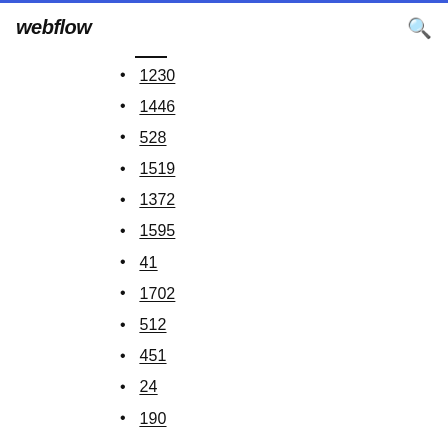webflow
1230
1446
528
1519
1372
1595
41
1702
512
451
24
190